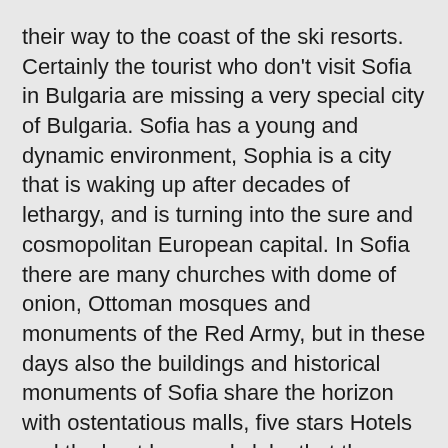their way to the coast of the ski resorts. Certainly the tourist who don't visit Sofia in Bulgaria are missing a very special city of Bulgaria. Sofia has a young and dynamic environment, Sophia is a city that is waking up after decades of lethargy, and is turning into the sure and cosmopolitan European capital. In Sofia there are many churches with dome of onion, Ottoman mosques and monuments of the Red Army, but in these days also the buildings and historical monuments of Sofia share the horizon with ostentatious malls, five stars Hotels and the best bars and clubs that the country has to offer.
Though there is no a great metropolis, nevertheless, Sofia is an attractive and educated city with many things to offer that they will keep it occupied for several days.
Too you can see houses in bulgaria for sale Bulgaria properties for sale Black sea properties